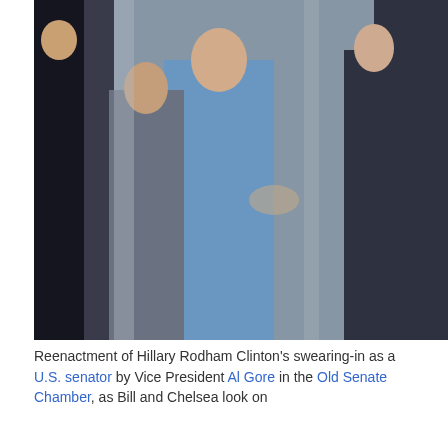[Figure (photo): Reenactment of Hillary Rodham Clinton's swearing-in as a U.S. senator with Vice President Al Gore in the Old Senate Chamber, with Bill and Chelsea Clinton looking on]
Reenactment of Hillary Rodham Clinton's swearing-in as a U.S. senator by Vice President Al Gore in the Old Senate Chamber, as Bill and Chelsea look on
[Figure (photo): Official photo of Hillary Rodham Clinton as U.S. senator, seated and smiling, wearing a dark jacket]
Official photo as U.S. senator